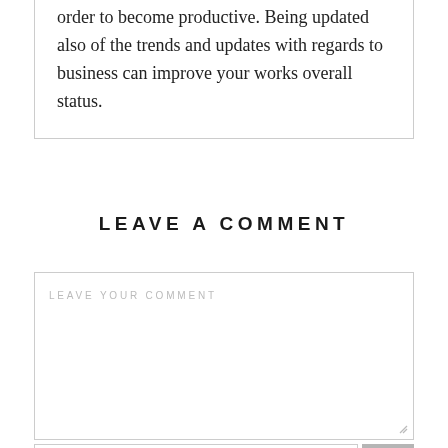order to become productive. Being updated also of the trends and updates with regards to business can improve your works overall status.
LEAVE A COMMENT
LEAVE YOUR COMMENT
Name *
Email *
Website